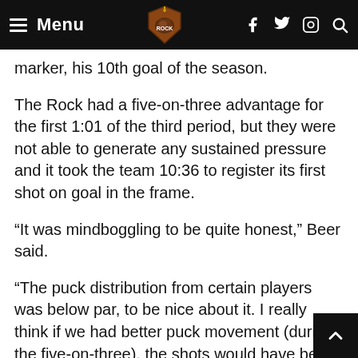Menu [hamburger icon] [Rock logo] [Facebook] [Twitter] [Instagram] [Search]
marker, his 10th goal of the season.
The Rock had a five-on-three advantage for the first 1:01 of the third period, but they were not able to generate any sustained pressure and it took the team 10:36 to register its first shot on goal in the frame.
“It was mindboggling to be quite honest,” Beer said.
“The puck distribution from certain players was below par, to be nice about it. I really think if we had better puck movement (during the five-on-three), the shots would have been there and we could have been more effective.
“Too many guys were asleep at the helm tonight.”
The Lumberjacks extended their lead to 5-2 just pas the eight-minute mark of the third period when Bla